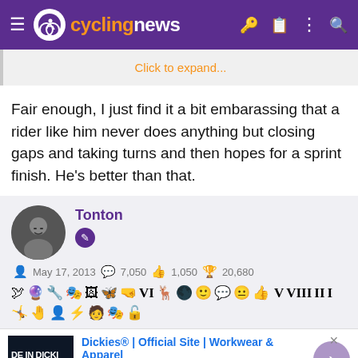cyclingnews
Click to expand...
Fair enough, I just find it a bit embarassing that a rider like him never does anything but closing gaps and taking turns and then hopes for a sprint finish. He's better than that.
Tonton
May 17, 2013  7,050  1,050  20,680
[Figure (other): Row of badge/achievement icons]
[Figure (other): Advertisement: Dickies Official Site | Workwear & Apparel — for work pants, work shirts, overalls, and coveralls. www.dickies.com]